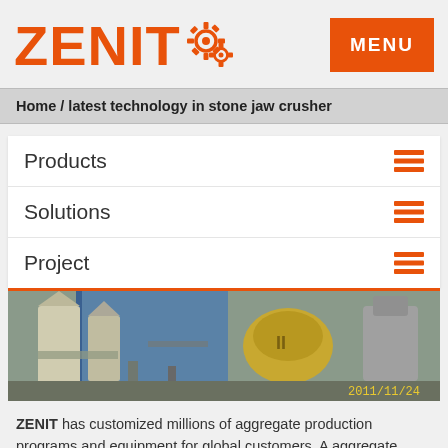[Figure (logo): ZENIT logo with orange gear icons and text]
MENU
Home / latest technology in stone jaw crusher
Products
Solutions
Project
[Figure (photo): Industrial stone crushing plant equipment, silos and machinery, dated 2011/11/24]
ZENIT has customized millions of aggregate production programs and equipment for global customers. A aggregate production line is